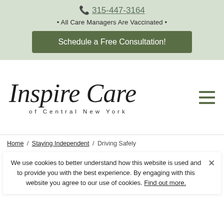📞 315-447-3164
• All Care Managers Are Vaccinated •
Schedule a Free Consultation!
[Figure (logo): Inspire Care of Central New York logo in italic serif font with hamburger menu icon]
Home / Staying Independent / Driving Safely
We use cookies to better understand how this website is used and to provide you with the best experience. By engaging with this website you agree to our use of cookies. Find out more.